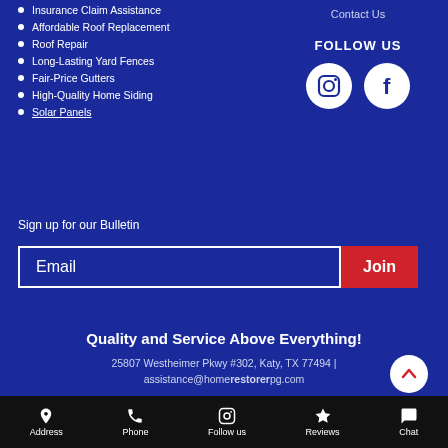Insurance Claim Assistance
Affordable Roof Replacement
Roof Repair
Long-Lasting Yard Fences
Fair-Price Gutters
High-Quality Home Siding
Solar Panels
Contact Us
FOLLOW US
[Figure (infographic): Instagram and Facebook social media icons (white circles with dark icons)]
Sign up for our Bulletin
Email
Join
Quality and Service Above Everything!
25807 Westheimer Pkwy #302, Katy, TX 77494  |
assistance@homerestorerpg.com
©2023 Home Restorer P&G LLC. Made with love by LV Branding
Address  Phone  Follow us  Reviews  Chat